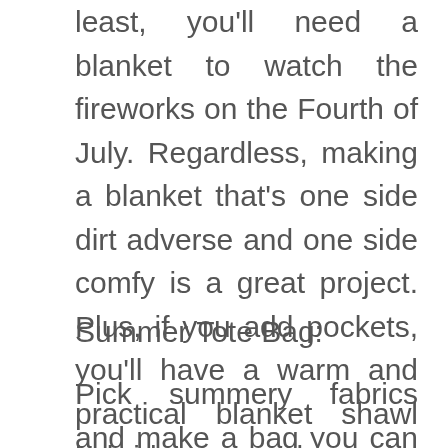least, you'll need a blanket to watch the fireworks on the Fourth of July. Regardless, making a blanket that's one side dirt adverse and one side comfy is a great project. Plus, if you add pockets, you'll have a warm and practical blanket shawl hybrid to snuggle up in. You'll probably get a lot of use out of this project too!
Summer Tote Bag:
Pick summery fabrics and make a bag you can take to the beach, swim lessons, or